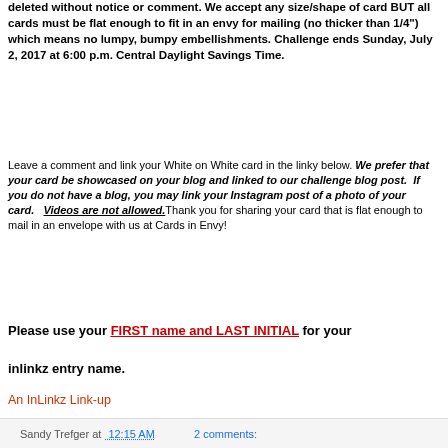deleted without notice or comment. We accept any size/shape of card BUT all cards must be flat enough to fit in an envy for mailing (no thicker than 1/4") which means no lumpy, bumpy embellishments. Challenge ends Sunday, July 2, 2017 at 6:00 p.m. Central Daylight Savings Time.
Leave a comment and link your White on White card in the linky below. We prefer that your card be showcased on your blog and linked to our challenge blog post. If you do not have a blog, you may link your Instagram post of a photo of your card. Videos are not allowed. Thank you for sharing your card that is flat enough to mail in an envelope with us at Cards in Envy!
Please use your FIRST name and LAST INITIAL for your inlinkz entry name.
An InLinkz Link-up
Sandy Trefger at 12:15 AM   2 comments: